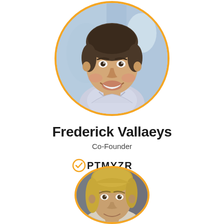[Figure (photo): Circular portrait photo of Frederick Vallaeys, a smiling man, with orange circular border]
Frederick Vallaeys
Co-Founder
[Figure (logo): Optmyzr logo with orange checkmark/O icon followed by PTMYZR in bold black letters]
[Figure (photo): Circular portrait photo of a woman with blonde hair, partially cropped at bottom, with orange circular border]